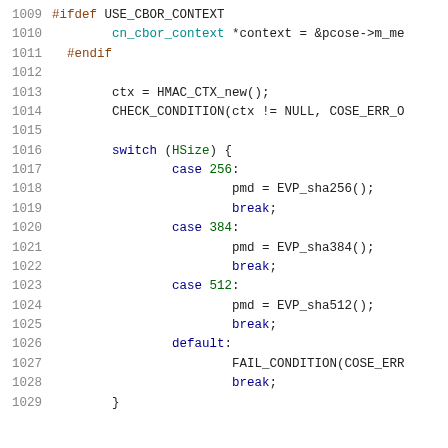[Figure (screenshot): Source code listing lines 1009-1029 showing C code with syntax highlighting. Contains preprocessor directives, HMAC context initialization, and a switch statement on HSize with cases for 256, 384, 512, and default.]